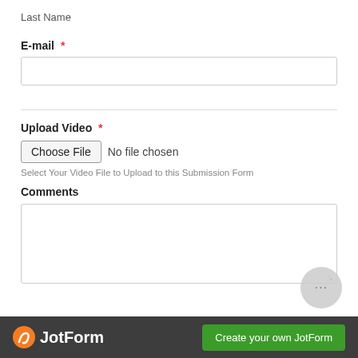Last Name
E-mail *
Upload Video *
Choose File  No file chosen
Select Your Video File to Upload to this Submission Form
Comments
JotForm  Create your own JotForm